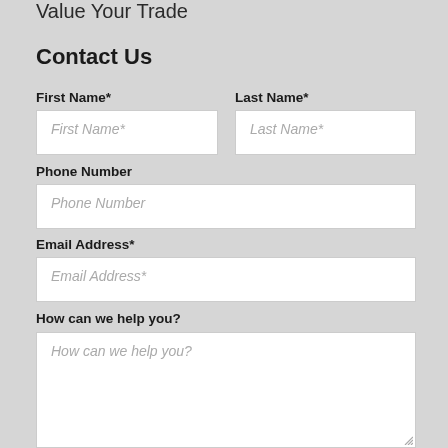Value Your Trade
Contact Us
First Name*
Last Name*
Phone Number
Email Address*
How can we help you?